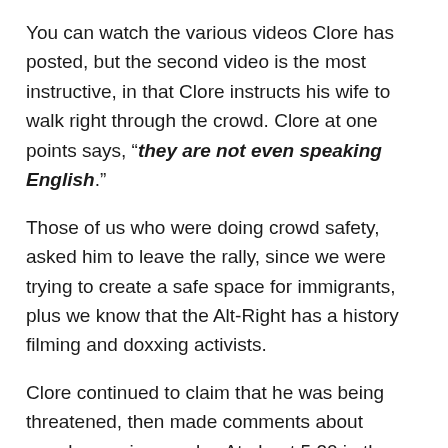You can watch the various videos Clore has posted, but the second video is the most instructive, in that Clore instructs his wife to walk right through the crowd. Clore at one points says, “they are not even speaking English.”
Those of us who were doing crowd safety, asked him to leave the rally, since we were trying to create a safe space for immigrants, plus we know that the Alt-Right has a history filming and doxxing activists.
Clore continued to claim that he was being threatened, then made comments about people wearing masks. At about 5:20 in the video he stated, “If you don’t like it here in the US, go back to Mexico.”
For the most part, Clore and his wife were manufacturing a news story, so much so that they made it about